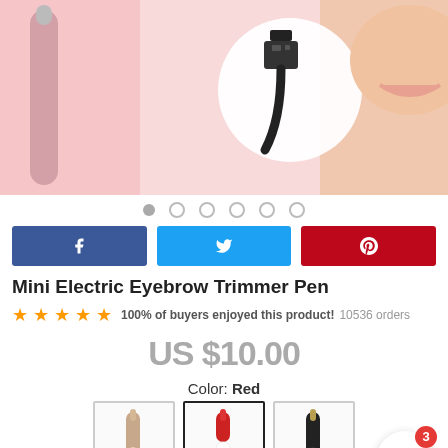[Figure (photo): Product image showing mini electric eyebrow trimmer pen with USB charging cable on pink background with person's face partially visible]
• • • • • •  (dots navigation)
[Figure (infographic): Social share buttons: Facebook (blue), Twitter (cyan), Pinterest (red)]
Mini Electric Eyebrow Trimmer Pen
★★★★★  100% of buyers enjoyed this product!  10536 orders
US $10.00
Color: Red
[Figure (photo): Three color variant thumbnail images of the eyebrow trimmer pen: rose gold/white, red/white (selected), black/gold]